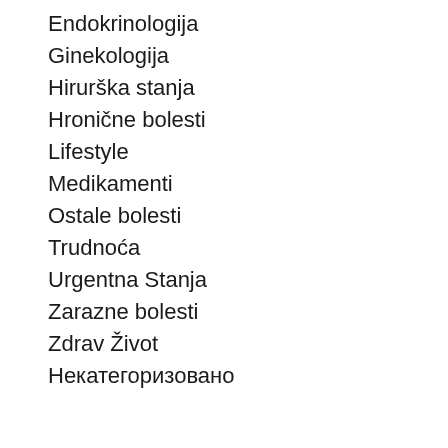Endokrinologija
Ginekologija
Hirurška stanja
Hronične bolesti
Lifestyle
Medikamenti
Ostale bolesti
Trudnoća
Urgentna Stanja
Zarazne bolesti
Zdrav Život
Некатегоризовано